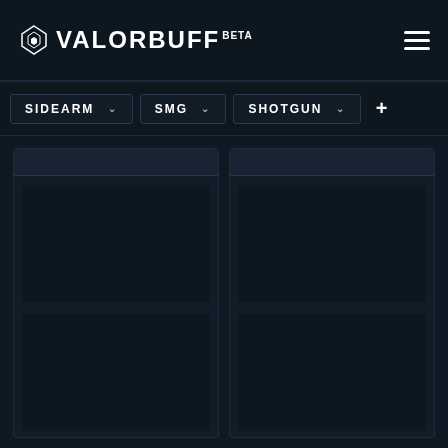VALORBUFF BETA
SIDEARM SMG SHOTGUN +
[Figure (screenshot): Two dark card panels showing weapon comparison UI with loading/placeholder areas]